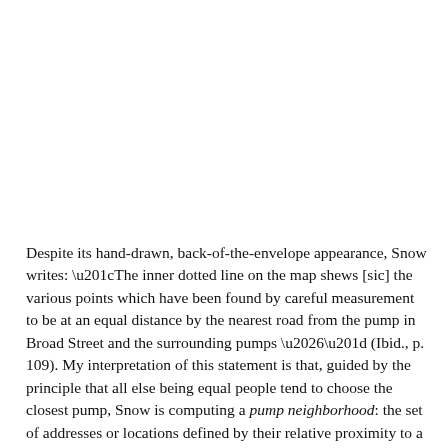Despite its hand-drawn, back-of-the-envelope appearance, Snow writes: “The inner dotted line on the map shews [sic] the various points which have been found by careful measurement to be at an equal distance by the nearest road from the pump in Broad Street and the surrounding pumps …” (Ibid., p. 109). My interpretation of this statement is that, guided by the principle that all else being equal people tend to choose the closest pump, Snow is computing a pump neighborhood: the set of addresses or locations defined by their relative proximity to a specific water pump. By doing so, Snow’s annotation sets limits on where we should and should not find fatalities. In short, Snow’s annotation is a hypothesis or prediction.